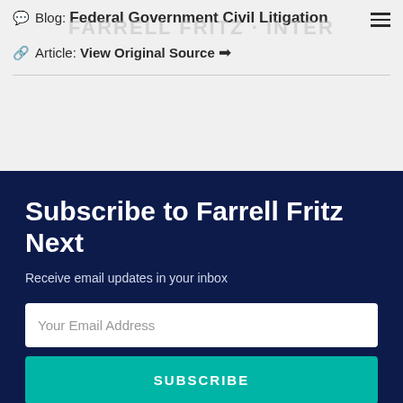Blog: Federal Government Civil Litigation
Article: View Original Source →
Subscribe to Farrell Fritz Next
Receive email updates in your inbox
Your Email Address
SUBSCRIBE